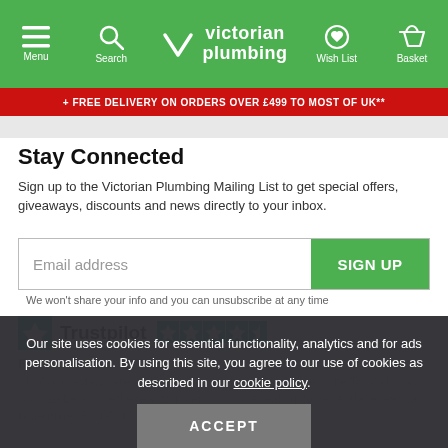Victorian Plumbing — Menu, Search, Wish List, Basket navigation
+ FREE DELIVERY ON ORDERS OVER £499 TO MOST OF UK**
Stay Connected
Sign up to the Victorian Plumbing Mailing List to get special offers, giveaways, discounts and news directly to your inbox.
Email address
SIGN UP
We won't share your info and you can unsubscribe at any time
[Figure (logo): Trustpilot logo with green star and four-and-a-half star rating boxes]
All of our reviews are verified and published on the review site Trustpilot, so you can be assured every comment is from a real customer and the feedback is genuine. Find Out More
Our site uses cookies for essential functionality, analytics and for ads personalisation. By using this site, you agree to our use of cookies as described in our cookie policy.
ACCEPT